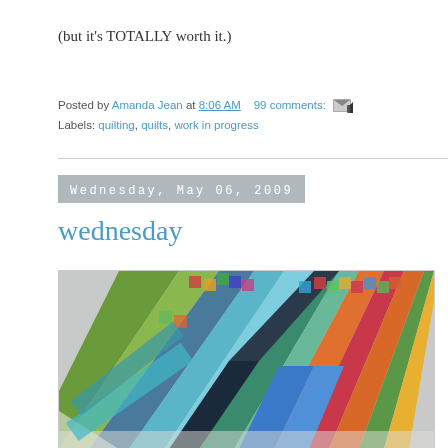(but it's TOTALLY worth it.)
Posted by Amanda Jean at 8:06 AM   99 comments:   [email icon]
Labels: quilting, quilts, work in progress
Wednesday, May 06, 2009
wednesday
[Figure (photo): Photo of colorful patchwork quilt strips arranged in a triangular/chevron pattern, showing various fabric patterns in blue, green, orange, red and other colors on a white surface.]